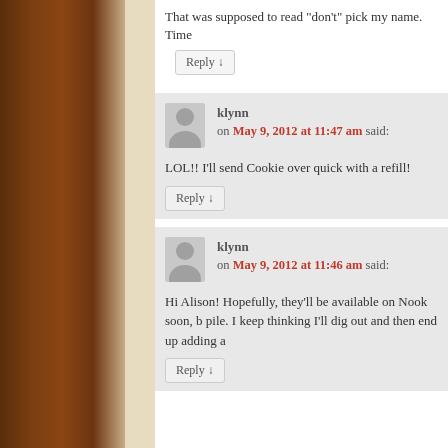That was supposed to read “don’t” pick my name. Time
Reply ↓
klynn on May 9, 2012 at 11:47 am said:
LOL!! I’ll send Cookie over quick with a refill!
Reply ↓
klynn on May 9, 2012 at 11:46 am said:
Hi Alison! Hopefully, they’ll be available on Nook soon, b pile. I keep thinking I’ll dig out and then end up adding a
Reply ↓